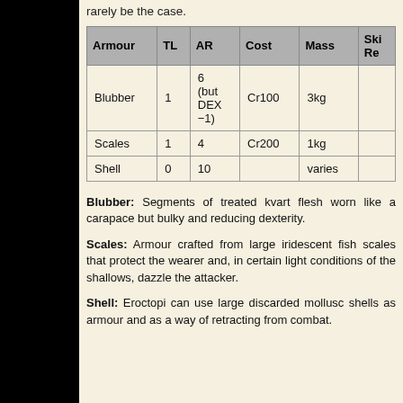rarely be the case.
| Armour | TL | AR | Cost | Mass | Ski Re |
| --- | --- | --- | --- | --- | --- |
| Blubber | 1 | 6 (but DEX −1) | Cr100 | 3kg |  |
| Scales | 1 | 4 | Cr200 | 1kg |  |
| Shell | 0 | 10 |  | varies |  |
Blubber: Segments of treated kvart flesh worn like a carapace but bulky and reducing dexterity.
Scales: Armour crafted from large iridescent fish scales that protect the wearer and, in certain light conditions of the shallows, dazzle the attacker.
Shell: Eroctopi can use large discarded mollusc shells as armour and as a way of retracting from combat.